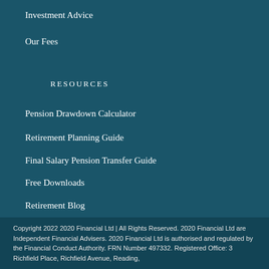Investment Advice
Our Fees
RESOURCES
Pension Drawdown Calculator
Retirement Planning Guide
Final Salary Pension Transfer Guide
Free Downloads
Retirement Blog
Copyright 2022 2020 Financial Ltd | All Rights Reserved. 2020 Financial Ltd are Independent Financial Advisers. 2020 Financial Ltd is authorised and regulated by the Financial Conduct Authority. FRN Number 497332. Registered Office: 3 Richfield Place, Richfield Avenue, Reading,